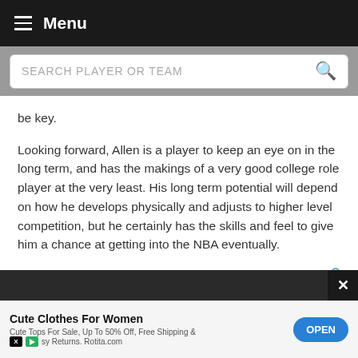Menu
SEARCH PLAYER OR TEAM
be key.
Looking forward, Allen is a player to keep an eye on in the long term, and has the makings of a very good college role player at the very least. His long term potential will depend on how he develops physically and adjusts to higher level competition, but he certainly has the skills and feel to give him a chance at getting into the NBA eventually.
Read full article
Cute Clothes For Women
Cute Tops For Sale, Up To 50% Off, Free Shipping & Easy Returns. Rotita.com